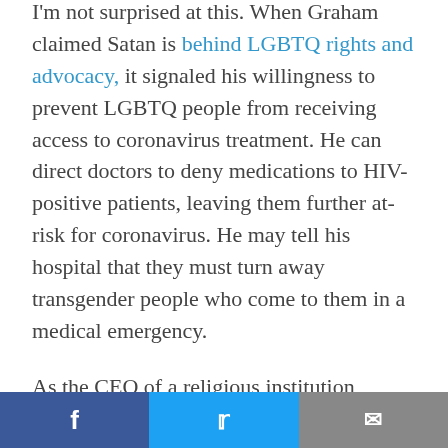I'm not surprised at this. When Graham claimed Satan is behind LGBTQ rights and advocacy, it signaled his willingness to prevent LGBTQ people from receiving access to coronavirus treatment. He can direct doctors to deny medications to HIV-positive patients, leaving them further at-risk for coronavirus. He may tell his hospital that they must turn away transgender people who come to them in a medical emergency.

As the CEO of a religious institution, Graham can legally instruct his field hospital to turn away LGBTQ people with symptoms, leaving them on their own to find care elsewhere. It's terrible to think that he would issue such an
f  [twitter bird]  [envelope]